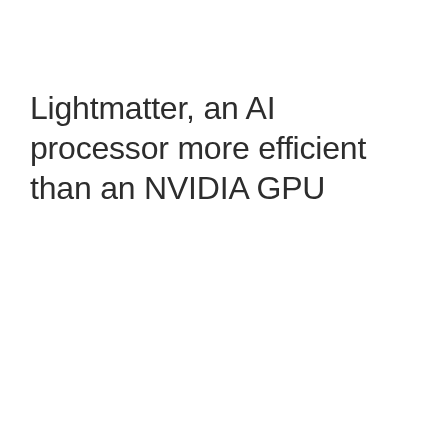Lightmatter, an AI processor more efficient than an NVIDIA GPU